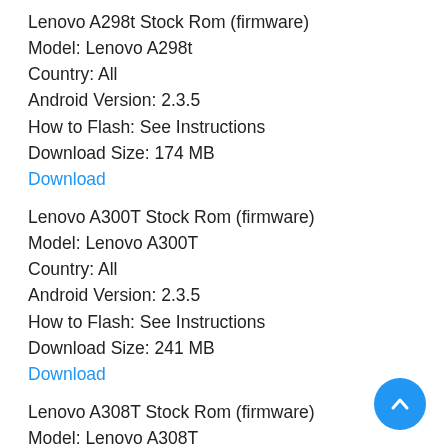Lenovo A298t Stock Rom (firmware)
Model: Lenovo A298t
Country: All
Android Version: 2.3.5
How to Flash: See Instructions
Download Size: 174 MB
Download
Lenovo A300T Stock Rom (firmware)
Model: Lenovo A300T
Country: All
Android Version: 2.3.5
How to Flash: See Instructions
Download Size: 241 MB
Download
Lenovo A308T Stock Rom (firmware)
Model: Lenovo A308T